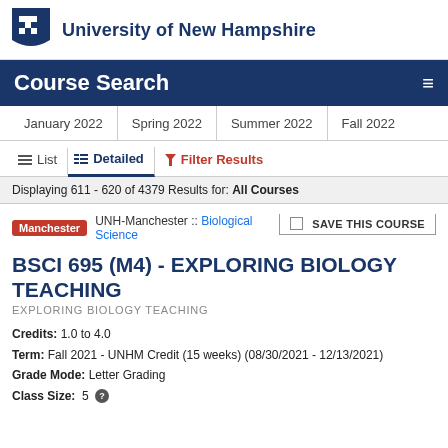University of New Hampshire
Course Search
January 2022 | Spring 2022 | Summer 2022 | Fall 2022
List   Detailed   Filter Results
Displaying 611 - 620 of 4379 Results for: All Courses
Manchester   UNH-Manchester :: Biological Science
BSCI 695 (M4) - EXPLORING BIOLOGY TEACHING
EXPLORING BIOLOGY TEACHING
Credits: 1.0 to 4.0
Term: Fall 2021 - UNHM Credit (15 weeks) (08/30/2021 - 12/13/2021)
Grade Mode: Letter Grading
Class Size: 5